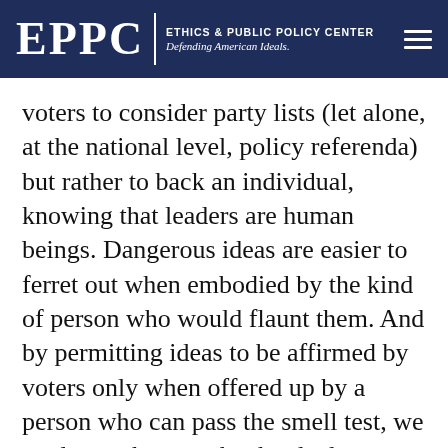EPPC | ETHICS & PUBLIC POLICY CENTER Defending American Ideals.
voters to consider party lists (let alone, at the national level, policy referenda) but rather to back an individual, knowing that leaders are human beings. Dangerous ideas are easier to ferret out when embodied by the kind of person who would flaunt them. And by permitting ideas to be affirmed by voters only when offered up by a person who can pass the smell test, we tend to make sure that hard edges are softened and extremes are substantively tempered. A leader’s temperament and personality are never fully distinct from his agenda, and so a system in which we elect